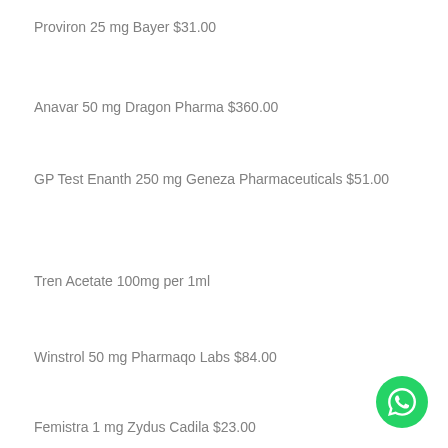Proviron 25 mg Bayer $31.00
Anavar 50 mg Dragon Pharma $360.00
GP Test Enanth 250 mg Geneza Pharmaceuticals $51.00
Tren Acetate 100mg per 1ml
Winstrol 50 mg Pharmaqo Labs $84.00
Femistra 1 mg Zydus Cadila $23.00